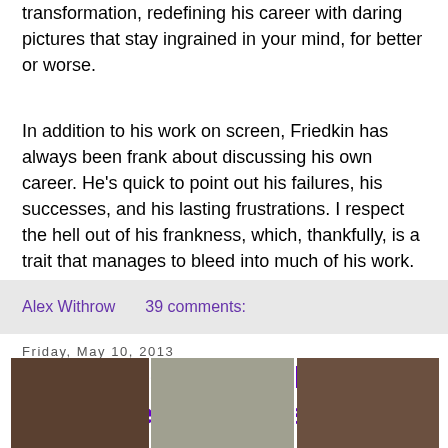transformation, redefining his career with daring pictures that stay ingrained in your mind, for better or worse.
In addition to his work on screen, Friedkin has always been frank about discussing his own career. He's quick to point out his failures, his successes, and his lasting frustrations. I respect the hell out of his frankness, which, thankfully, is a trait that manages to bleed into much of his work.
Alex Withrow    39 comments:
Friday, May 10, 2013
My Top 10 Film Endings (that everyone else hates)
[Figure (photo): A three-panel photo strip showing film stills: left panel shows two men embracing, center panel shows a wide road/landscape shot, right panel shows a man smoking.]